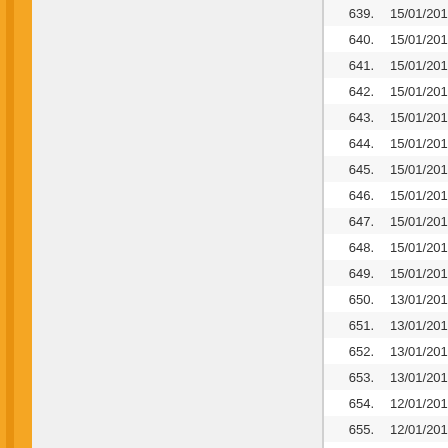| # | Date | Title |
| --- | --- | --- |
| 639. | 15/01/2017 | DEGREE M... |
| 640. | 15/01/2017 | DEGREE M... |
| 641. | 15/01/2017 | DEGREE M... |
| 642. | 15/01/2017 | DEGREE M... |
| 643. | 15/01/2017 | DEGREE M... |
| 644. | 15/01/2017 | DEGREE M... |
| 645. | 15/01/2017 | DEGREE M... |
| 646. | 15/01/2017 | DEGREE M... |
| 647. | 15/01/2017 | DEGREE M... |
| 648. | 15/01/2017 | DEGREE M... |
| 649. | 15/01/2017 | DEGREE M... |
| 650. | 13/01/2017 | DEGREE M... |
| 651. | 13/01/2017 | DEGREE M... |
| 652. | 13/01/2017 | DEGREE M... |
| 653. | 13/01/2017 | DEGREE M... |
| 654. | 12/01/2017 | DEGREE M... |
| 655. | 12/01/2017 | DEGREE M... |